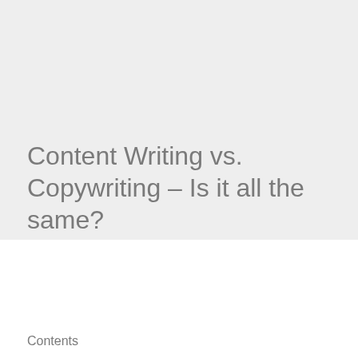Content Writing vs. Copywriting – Is it all the same?
Contents